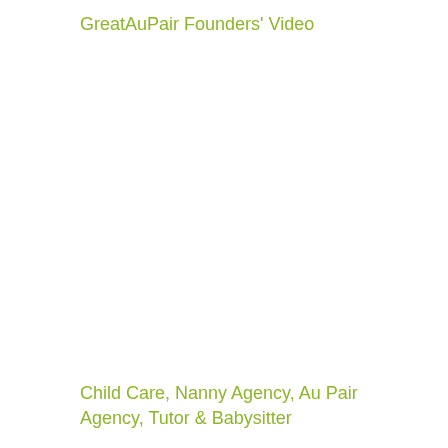GreatAuPair Founders' Video
Child Care, Nanny Agency, Au Pair Agency, Tutor & Babysitter